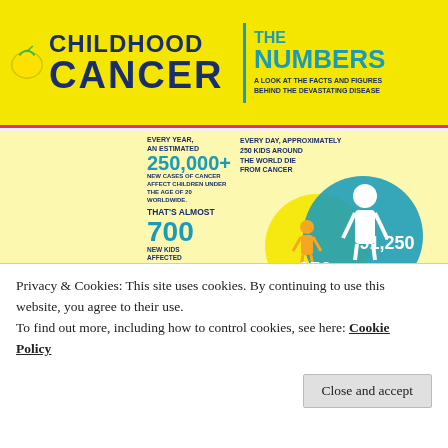CHILDHOOD CANCER | THE NUMBERS — A LOOK AT THE FACTS AND FIGURES BEHIND THE DEVASTATING DISEASE
[Figure (infographic): Infographic about childhood cancer statistics. Left panel: grid of person icons with text 'Every year, an estimated 250,000+ new cases of cancer affect children under the age of 20 worldwide. That's almost 700 new kids affected every day'. Right panel: Venn diagram circles showing '250' daily deaths and '91,250 kids lose their life to cancer every year'. Bottom left: tree/pyramid diagram of yellow circles with blue C node. Bottom right: Text about childhood cancer occurring regularly, randomly, sparing no ethnic group, socioeconomic class, or geographic region.]
Privacy & Cookies: This site uses cookies. By continuing to use this website, you agree to their use.
To find out more, including how to control cookies, see here: Cookie Policy
Close and accept